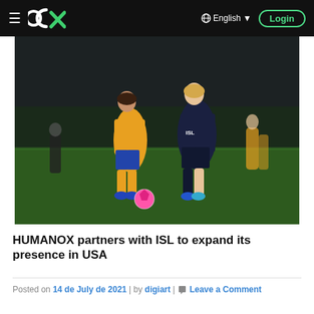≡  CX  |  🌐 English ▾  Login
[Figure (photo): Two female soccer players competing for the ball on an artificial grass field at night. Player in yellow/blue kit and player in dark navy ISL kit. Pink soccer ball visible on the ground.]
HUMANOX partners with ISL to expand its presence in USA
Posted on 14 de July de 2021 | by digiart | 💬 Leave a Comment